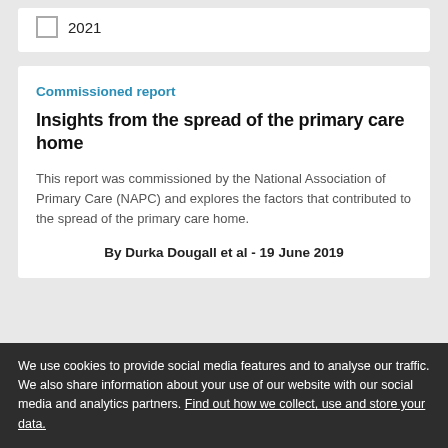2021
Commissioned report
Insights from the spread of the primary care home
This report was commissioned by the National Association of Primary Care (NAPC) and explores the factors that contributed to the spread of the primary care home.
By Durka Dougall et al - 19 June 2019
We use cookies to provide social media features and to analyse our traffic. We also share information about your use of our website with our social media and analytics partners. Find out how we collect, use and store your data.